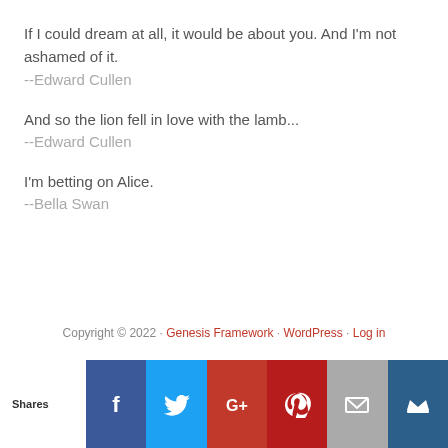If I could dream at all, it would be about you. And I'm not ashamed of it.
--Edward Cullen
And so the lion fell in love with the lamb...
--Edward Cullen
I'm betting on Alice.
--Bella Swan
Copyright © 2022 · Genesis Framework · WordPress · Log in
[Figure (infographic): Social sharing bar with Shares label and icons for Facebook, Twitter, Google+, Pinterest, Email, and a crown/bookmark icon]